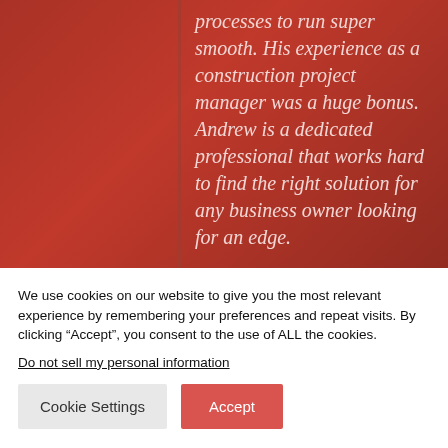processes to run super smooth. His experience as a construction project manager was a huge bonus. Andrew is a dedicated professional that works hard to find the right solution for any business owner looking for an edge.
We use cookies on our website to give you the most relevant experience by remembering your preferences and repeat visits. By clicking “Accept”, you consent to the use of ALL the cookies.
Do not sell my personal information.
Cookie Settings | Accept